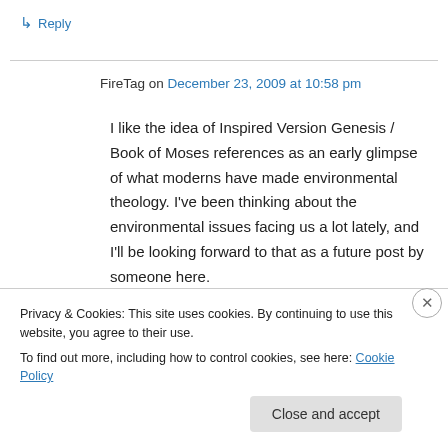↳ Reply
FireTag on December 23, 2009 at 10:58 pm
I like the idea of Inspired Version Genesis / Book of Moses references as an early glimpse of what moderns have made environmental theology. I've been thinking about the environmental issues facing us a lot lately, and I'll be looking forward to that as a future post by someone here.
Privacy & Cookies: This site uses cookies. By continuing to use this website, you agree to their use.
To find out more, including how to control cookies, see here: Cookie Policy
Close and accept